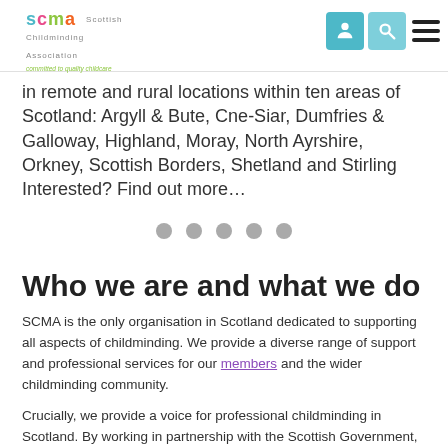SCMA – Scottish Childminding Association – committed to quality childcare
in remote and rural locations within ten areas of Scotland: Argyll & Bute, Cne-Siar, Dumfries & Galloway, Highland, Moray, North Ayrshire, Orkney, Scottish Borders, Shetland and Stirling Interested? Find out more…
Who we are and what we do
SCMA is the only organisation in Scotland dedicated to supporting all aspects of childminding. We provide a diverse range of support and professional services for our members and the wider childminding community.
Crucially, we provide a voice for professional childminding in Scotland. By working in partnership with the Scottish Government, local authorities and others, we